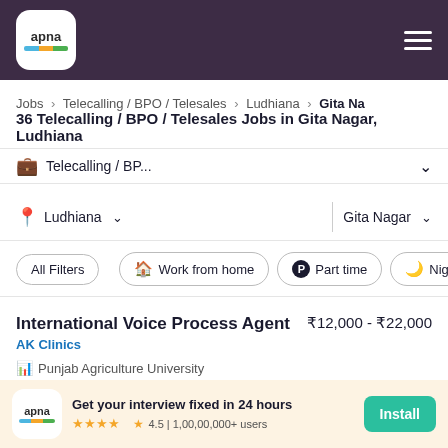apna
Jobs > Telecalling / BPO / Telesales > Ludhiana > Gita Na
36 Telecalling / BPO / Telesales Jobs in Gita Nagar, Ludhiana
Telecalling / BP...
Ludhiana  Gita Nagar
All Filters  Work from home  Part time  Night Sh
International Voice Process Agent  ₹12,000 - ₹22,000
AK Clinics
Punjab Agriculture University
Get your interview fixed in 24 hours
4.5 | 1,00,00,000+ users
Install